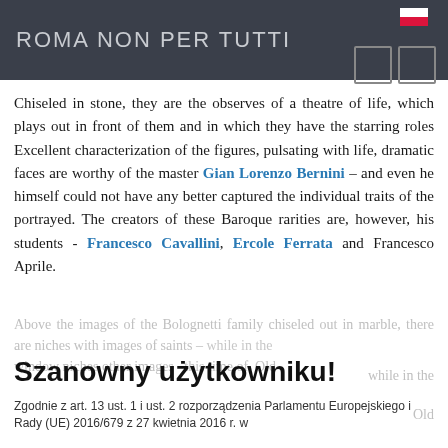ROMA NON PER TUTTI
Chiseled in stone, they are the observes of a theatre of life, which plays out in front of them and in which they have the starring roles Excellent characterization of the figures, pulsating with life, dramatic faces are worthy of the master Gian Lorenzo Bernini – and even he himself could not have any better captured the individual traits of the portrayed. The creators of these Baroque rarities are, however, his students - Francesco Cavallini, Ercole Ferrata and Francesco Aprile.
Above the images of the Bolognetti family chiseled out in marble, there are niches with images of saints – while in the window niches other images this time of Old ...
Szanowny użytkowniku!
Zgodnie z art. 13 ust. 1 i ust. 2 rozporządzenia Parlamentu Europejskiego i Rady (UE) 2016/679 z 27 kwietnia 2016 r. w